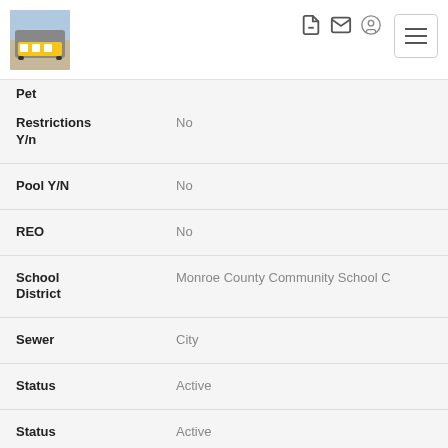[Figure (photo): Logo image showing a yellow bus in front of a building]
| Field | Value |
| --- | --- |
| Pet Restrictions Y/n | No |
| Pool Y/N | No |
| REO | No |
| School District | Monroe County Community School C |
| Sewer | City |
| Status | Active |
| Status | Active |